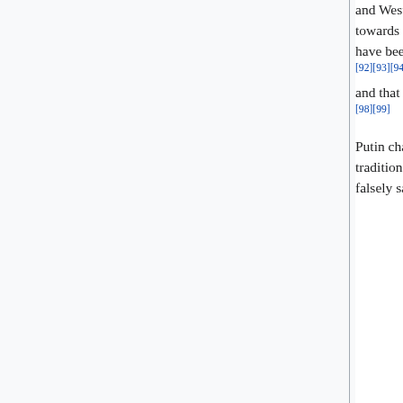and Western officials described these as attempts to justify war.[87][88] "Russophobia is a first step towards genocide", Putin said on 9 December 2021.[89][90] Putin's claims about "de-Nazification" have been described as absurd,[91] and Russian claims of genocide were widely rejected as baseless.[92][93][94] Scholars of genocide and Nazism said that Putin's claims were "factually wrong",[95][96][97] and that they actually contribute to incitement to genocide of Ukrainians by accusation in a mirror.[98][99]
Putin challenged the legitimacy of the Ukrainian state and claimed[100] that "Ukraine never had a tradition of genuine statehood",[101] incorrectly described it as created by Soviet Russia,[23] and falsely said Ukrainian society and